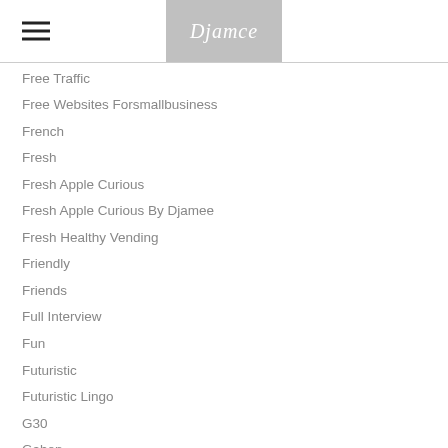Djamee
Free Traffic
Free Websites Forsmallbusiness
French
Fresh
Fresh Apple Curious
Fresh Apple Curious By Djamee
Fresh Healthy Vending
Friendly
Friends
Full Interview
Fun
Futuristic
Futuristic Lingo
G30
Gabon
Gabon Protest